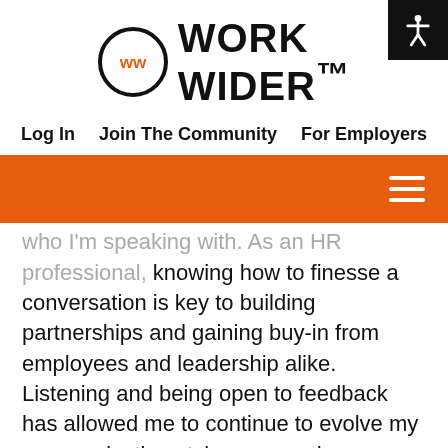[Figure (logo): Work Wider logo with circular WW emblem in orange and black, text WORK WIDER with TM mark]
Log In   Join The Community   For Employers
who I'm speaking with. As an HR professional, knowing how to finesse a conversation is key to building partnerships and gaining buy-in from employees and leadership alike. Listening and being open to feedback has allowed me to continue to evolve my communication style – some changes are necessary. However, being asked to change who you are or hide some aspect of yourself is frankly not appropriate and all kinds of wrong. If you can't be authentic and present yourself